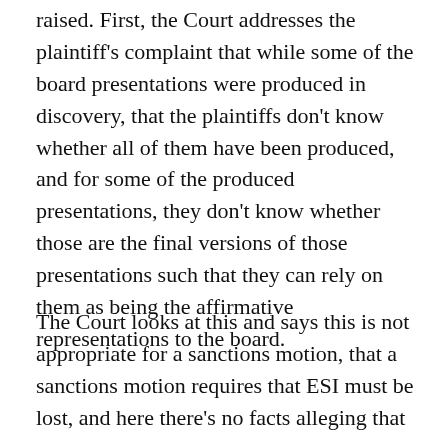raised. First, the Court addresses the plaintiff's complaint that while some of the board presentations were produced in discovery, that the plaintiffs don't know whether all of them have been produced, and for some of the produced presentations, they don't know whether those are the final versions of those presentations such that they can rely on them as being the affirmative representations to the board.
The Court looks at this and says this is not appropriate for a sanctions motion, that a sanctions motion requires that ESI must be lost, and here there's no facts alleging that